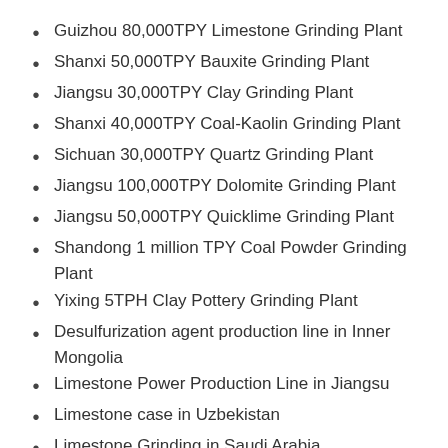Guizhou 80,000TPY Limestone Grinding Plant
Shanxi 50,000TPY Bauxite Grinding Plant
Jiangsu 30,000TPY Clay Grinding Plant
Shanxi 40,000TPY Coal-Kaolin Grinding Plant
Sichuan 30,000TPY Quartz Grinding Plant
Jiangsu 100,000TPY Dolomite Grinding Plant
Jiangsu 50,000TPY Quicklime Grinding Plant
Shandong 1 million TPY Coal Powder Grinding Plant
Yixing 5TPH Clay Pottery Grinding Plant
Desulfurization agent production line in Inner Mongolia
Limestone Power Production Line in Jiangsu
Limestone case in Uzbekistan
Limestone Grinding in Saudi Arabia
Limestone Grinding in Pakistan